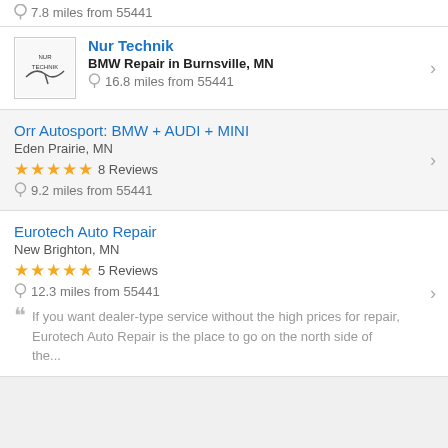7.8 miles from 55441 (partial, top)
Nur Technik
BMW Repair in Burnsville, MN
16.8 miles from 55441
Orr Autosport: BMW + AUDI + MINI
Eden Prairie, MN
8 Reviews
9.2 miles from 55441
Eurotech Auto Repair
New Brighton, MN
5 Reviews
12.3 miles from 55441
If you want dealer-type service without the high prices for repair, Eurotech Auto Repair is the place to go on the north side of the...